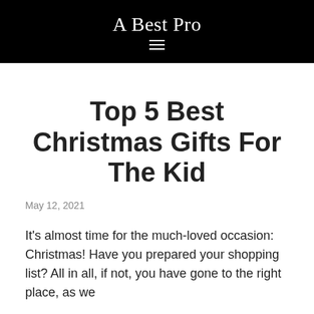A Best Pro
Top 5 Best Christmas Gifts For The Kid
May 12, 2021
It's almost time for the much-loved occasion: Christmas! Have you prepared your shopping list? All in all, if not, you have gone to the right place, as we